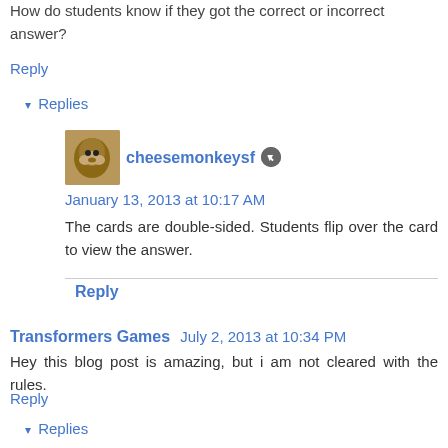How do students know if they got the correct or incorrect answer?
Reply
▾ Replies
cheesemonkeysf  January 13, 2013 at 10:17 AM
The cards are double-sided. Students flip over the card to view the answer.
Reply
Transformers Games  July 2, 2013 at 10:34 PM
Hey this blog post is amazing, but i am not cleared with the rules.
Reply
▾ Replies